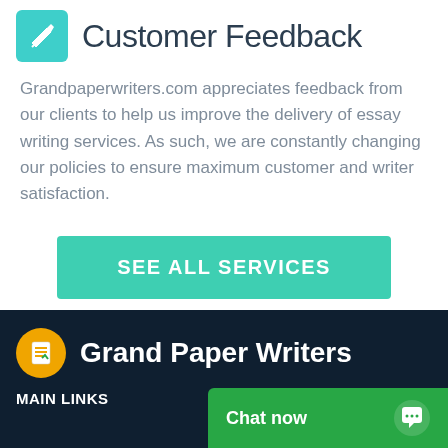Customer Feedback
Grandpaperwriters.com appreciates feedback from our clients to help us improve the delivery of essay writing services. As such, we are constantly changing our policies to ensure maximum customer and writer satisfaction.
[Figure (other): Green 'SEE ALL SERVICES' button]
[Figure (logo): Grand Paper Writers logo with yellow circular icon and white text on dark navy background]
MAIN LINKS
[Figure (other): Green 'Chat now' button with chat icon]